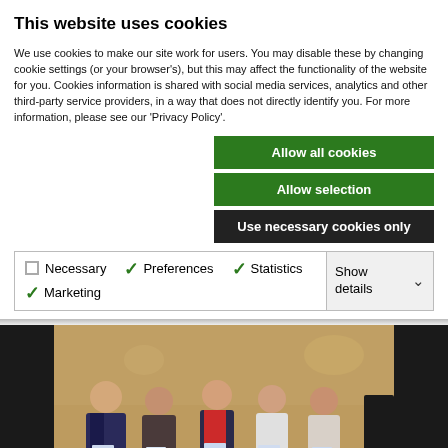This website uses cookies
We use cookies to make our site work for users. You may disable these by changing cookie settings (or your browser's), but this may affect the functionality of the website for you. Cookies information is shared with social media services, analytics and other third-party service providers, in a way that does not directly identify you. For more information, please see our 'Privacy Policy'.
Allow all cookies
Allow selection
Use necessary cookies only
Necessary   Preferences   Statistics   Marketing   Show details
[Figure (photo): Group photo of five people (one man and four women) standing together indoors, holding what appear to be booklets or reports. They are in a formal setting with warm lighting.]